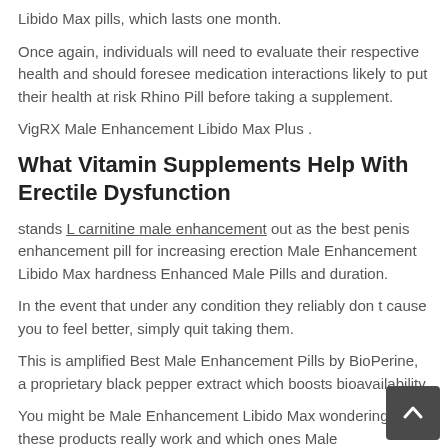Libido Max pills, which lasts one month.
Once again, individuals will need to evaluate their respective health and should foresee medication interactions likely to put their health at risk Rhino Pill before taking a supplement.
VigRX Male Enhancement Libido Max Plus .
What Vitamin Supplements Help With Erectile Dysfunction
stands L carnitine male enhancement out as the best penis enhancement pill for increasing erection Male Enhancement Libido Max hardness Enhanced Male Pills and duration.
In the event that under any condition they reliably don t cause you to feel better, simply quit taking them.
This is amplified Best Male Enhancement Pills by BioPerine, a proprietary black pepper extract which boosts bioavailability.
You might be Male Enhancement Libido Max wondering if these products really work and which ones Male Enhancement Libido